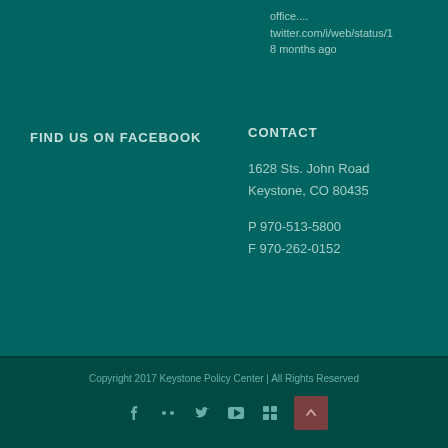office.... twitter.com/i/web/status/1 8 months ago
FIND US ON FACEBOOK
CONTACT
1628 Sts. John Road
Keystone, CO 80435
P 970-513-5800
F 970-262-0152
Copyright 2017 Keystone Policy Center | All Rights Reserved